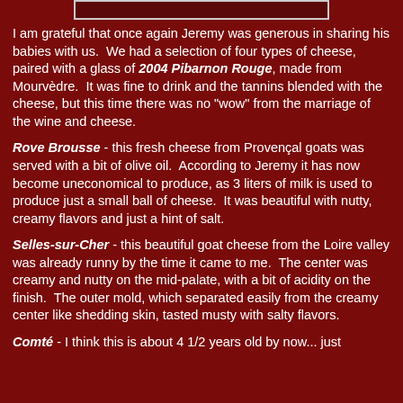[Figure (photo): Partial image visible at the top of the page, appears to be a photo of cheese or food items, shown as a narrow horizontal strip]
I am grateful that once again Jeremy was generous in sharing his babies with us.  We had a selection of four types of cheese, paired with a glass of 2004 Pibarnon Rouge, made from Mourvèdre.  It was fine to drink and the tannins blended with the cheese, but this time there was no "wow" from the marriage of the wine and cheese.
Rove Brousse - this fresh cheese from Provençal goats was served with a bit of olive oil.  According to Jeremy it has now become uneconomical to produce, as 3 liters of milk is used to produce just a small ball of cheese.  It was beautiful with nutty, creamy flavors and just a hint of salt.
Selles-sur-Cher - this beautiful goat cheese from the Loire valley was already runny by the time it came to me.  The center was creamy and nutty on the mid-palate, with a bit of acidity on the finish.  The outer mold, which separated easily from the creamy center like shedding skin, tasted musty with salty flavors.
Comté - I think this is about 4 1/2 years old by now... just